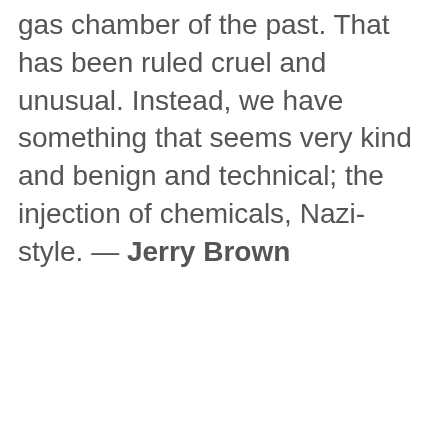gas chamber of the past. That has been ruled cruel and unusual. Instead, we have something that seems very kind and benign and technical; the injection of chemicals, Nazi-style. — Jerry Brown